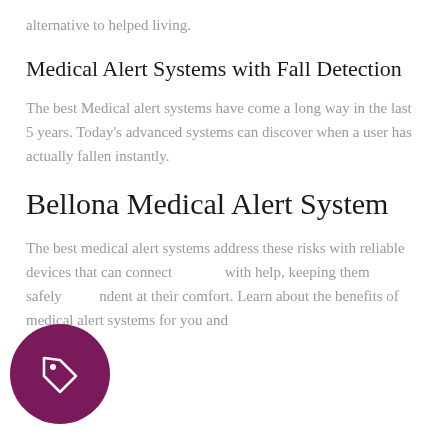alternative to helped living.
Medical Alert Systems with Fall Detection
The best Medical alert systems have come a long way in the last 5 years. Today's advanced systems can discover when a user has actually fallen instantly.
Bellona Medical Alert System
The best medical alert systems address these risks with reliable devices that can connect with help, keeping them safely independent at their comfort. Learn about the benefits of medical alert systems for you and
[Figure (illustration): Dark magenta/purple circular icon with a price tag symbol in white, positioned in the bottom-left corner of the page.]